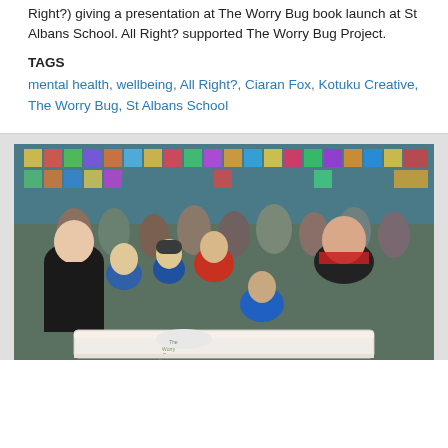Right?) giving a presentation at The Worry Bug book launch at St Albans School. All Right? supported The Worry Bug Project.
TAGS
mental health, wellbeing, All Right?, Ciaran Fox, Kotuku Creative, The Worry Bug, St Albans School
[Figure (photo): Group photo of adults and children at a book launch event, gathered around a large white cake with 'The Worry Bug Project' written on it. The crowd is inside a school hall decorated with colourful artwork on the walls.]